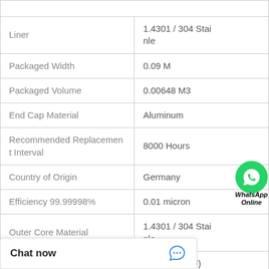| Property | Value |
| --- | --- |
| Liner | 1.4301 / 304 Stainle |
| Packaged Width | 0.09 M |
| Packaged Volume | 0.00648 M3 |
| End Cap Material | Aluminum |
| Recommended Replacement Interval | 8000 Hours |
| Country of Origin | Germany |
| Efficiency 99.99998% | 0.01 micron |
| Outer Core Material | 1.4301 / 304 Stainle |
| (partial) | 80 °C (176 °F) |
[Figure (logo): WhatsApp green circle icon with phone handset, with text 'WhatsApp Online' below]
Chat now